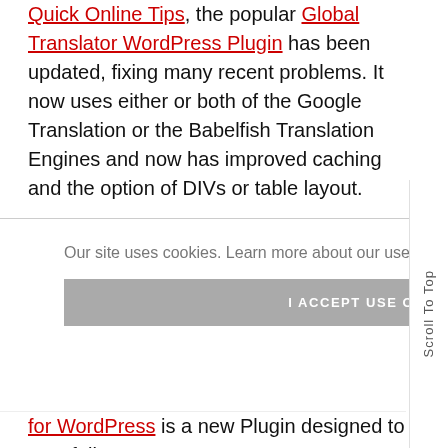Quick Online Tips, the popular Global Translator WordPress Plugin has been updated, fixing many recent problems. It now uses either or both of the Google Translation or the Babelfish Translation Engines and now has improved caching and the option of DIVs or table layout.
Feedburner WordPress Plugin now FeedSmith: The popular Feedburner WordPress Plugin is now under the roof of Feedburner and is called FeedSmith. It has a lot of new features to grab all calls to your built-in WordPress feeds and divert them to Feedburner. Currently, this is only for full ... urner ... tion Plugin for WordPress is a new Plugin designed to stop folks
Our site uses cookies. Learn more about our use of cookies: cookie policy
I ACCEPT USE OF COOKIES
Scroll To Top